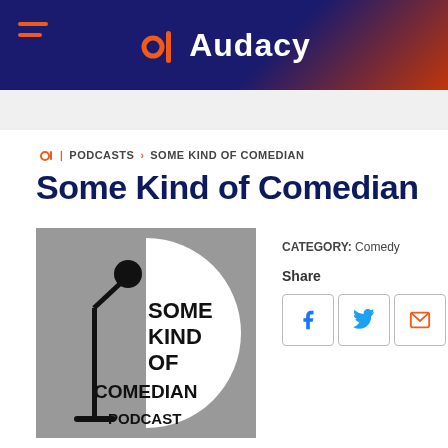Audacy
PODCASTS / SOME KIND OF COMEDIAN
Some Kind of Comedian
[Figure (illustration): Podcast cover art for Some Kind of Comedian Podcast — gray background with white semicircle, black microphone on stand, bold black text reading SOME KIND OF COMEDIAN PODCAST]
CATEGORY: Comedy
Share